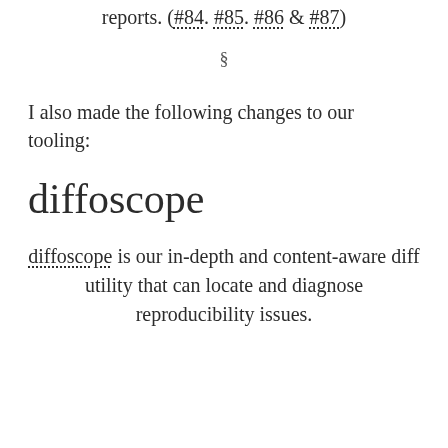reports. (#84. #85. #86 & #87)
§
I also made the following changes to our tooling:
diffoscope
diffoscope is our in-depth and content-aware diff utility that can locate and diagnose reproducibility issues.